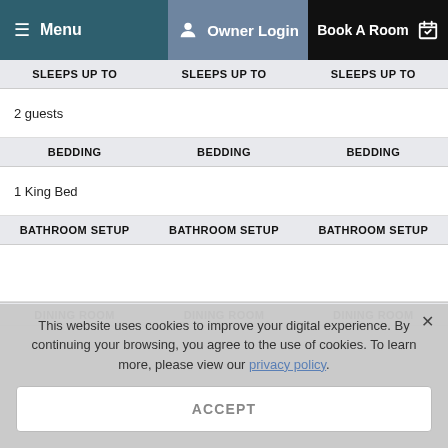Menu | Owner Login | Book A Room
| SLEEPS UP TO | SLEEPS UP TO | SLEEPS UP TO |
| --- | --- | --- |
| 2 guests |  |  |
| BEDDING | BEDDING | BEDDING |
| --- | --- | --- |
| 1 King Bed |  |  |
| BATHROOM SETUP | BATHROOM SETUP | BATHROOM SETUP |
| --- | --- | --- |
|  |  |  |
| DINING ROOM | DINING ROOM | DINING ROOM |
| --- | --- | --- |
This website uses cookies to improve your digital experience. By continuing your browsing, you agree to the use of cookies. To learn more, please view our privacy policy.
ACCEPT